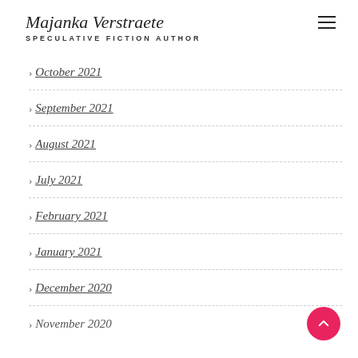Majanka Verstraete — SPECULATIVE FICTION AUTHOR
October 2021
September 2021
August 2021
July 2021
February 2021
January 2021
December 2020
November 2020